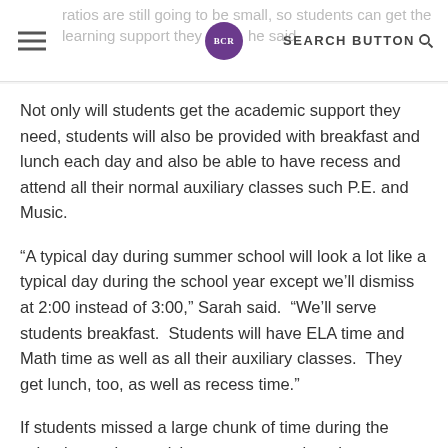ratios are still going to be small, so students can get the learning support they need, he said. SEARCH BUTTON
Not only will students get the academic support they need, students will also be provided with breakfast and lunch each day and also be able to have recess and attend all their normal auxiliary classes such P.E. and Music.
“A typical day during summer school will look a lot like a typical day during the school year except we’ll dismiss at 2:00 instead of 3:00,” Sarah said.  “We’ll serve students breakfast.  Students will have ELA time and Math time as well as all their auxiliary classes.  They get lunch, too, as well as recess time.”
If students missed a large chunk of time during the school year due to sickness or quarantine, the summer learning program is an excellent opportunity for